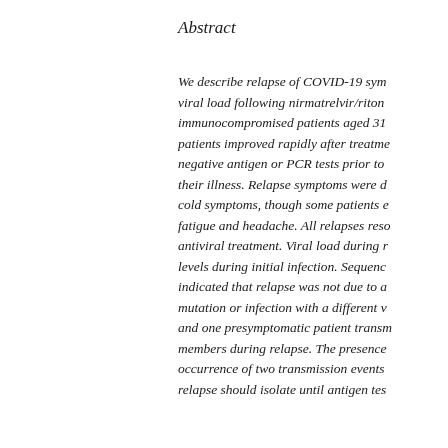Abstract
We describe relapse of COVID-19 symptoms and viral load following nirmatrelvir/ritonavir in immunocompromised patients aged 31 to 71. All patients improved rapidly after treatment, with negative antigen or PCR tests prior to relapse of their illness. Relapse symptoms were descriptive of cold symptoms, though some patients experienced fatigue and headache. All relapses resolved without antiviral treatment. Viral load during relapse reached levels during initial infection. Sequencing indicated that relapse was not due to a resistance mutation or infection with a different variant, and one presymptomatic patient transmitted to family members during relapse. The presence of symptoms, occurrence of two transmission events suggests that relapse should isolate until antigen tes